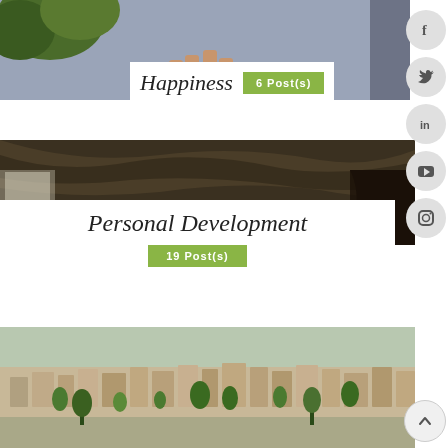[Figure (photo): Outdoor photo with trees and blue sky, person's hands visible at center]
Happiness
6 Post(s)
[Figure (photo): Dark interior stone arch ceiling with window light]
Personal Development
19 Post(s)
[Figure (photo): Aerial view of a dense Middle Eastern city with buildings on hillside and green trees]
[Figure (infographic): Social media sidebar buttons: Facebook, Twitter, LinkedIn, YouTube, Instagram]
Back to top arrow button